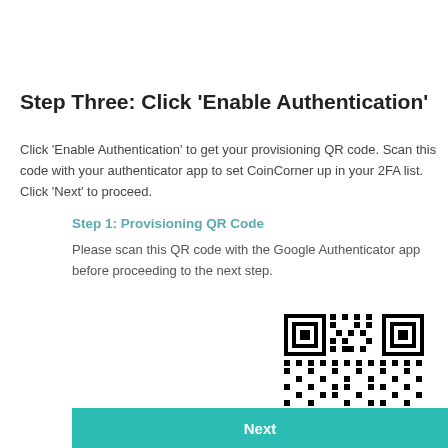Step Three: Click 'Enable Authentication'
Click 'Enable Authentication' to get your provisioning QR code. Scan this code with your authenticator app to set CoinCorner up in your 2FA list. Click 'Next' to proceed.
Step 1: Provisioning QR Code
Please scan this QR code with the Google Authenticator app before proceeding to the next step.
[Figure (other): QR code for provisioning Google Authenticator with CoinCorner 2FA]
Next